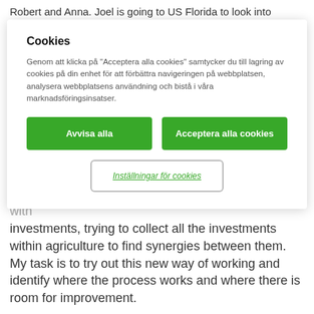Robert and Anna. Joel is going to US Florida to look into
Cookies
Genom att klicka på "Acceptera alla cookies" samtycker du till lagring av cookies på din enhet för att förbättra navigeringen på webbplatsen, analysera webbplatsens användning och bistå i våra marknadsföringsinsatser.
Avvisa alla
Acceptera alla cookies
Inställningar för cookies
agriculture division. The unit has a new way to work with investments, trying to collect all the investments within agriculture to find synergies between them. My task is to try out this new way of working and identify where the process works and where there is room for improvement.